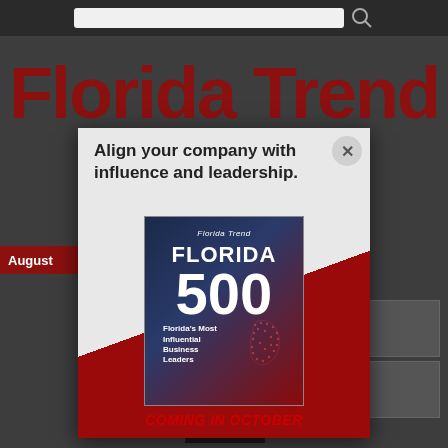[Figure (screenshot): Screenshot of Florida Trend website with a modal popup advertisement for the Florida 500 issue]
Florida Trend
Align your company with influence and leadership.
[Figure (illustration): Florida Trend Florida 500 magazine cover showing FLORIDA 500 text and Florida's Most Influential Business Leaders tagline]
COMING IN OCTOBER
August